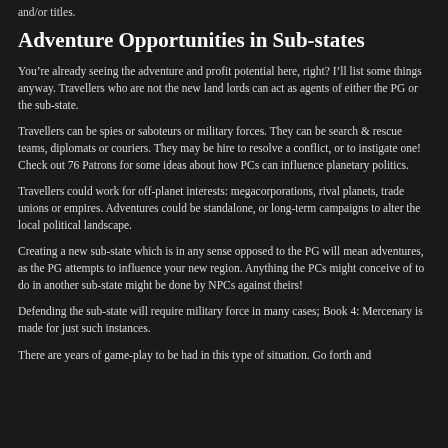and/or titles.
Adventure Opportunities in Sub-states
You're already seeing the adventure and profit potential here, right? I'll list some things anyway. Travellers who are not the new land lords can act as agents of either the PG or the sub-state.
Travellers can be spies or saboteurs or military forces. They can be search & rescue teams, diplomats or couriers. They may be hire to resolve a conflict, or to instigate one! Check out 76 Patrons for some ideas about how PCs can influence planetary politics.
Travellers could work for off-planet interests: megacorporations, rival planets, trade unions or empires. Adventures could be standalone, or long-term campaigns to alter the local political landscape.
Creating a new sub-state which is in any sense opposed to the PG will mean adventures, as the PG attempts to influence your new region. Anything the PCs might conceive of to do in another sub-state might be done by NPCs against theirs!
Defending the sub-state will require military force in many cases; Book 4: Mercenary is made for just such instances.
There are years of game-play to be had in this type of situation. Go forth and